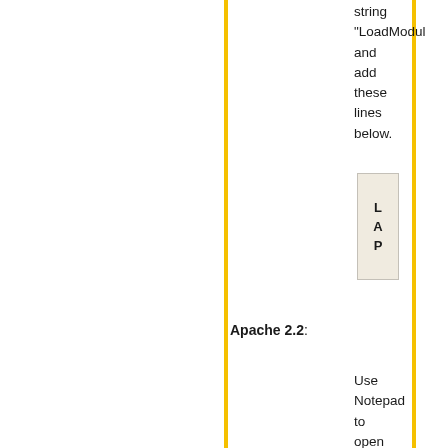string "LoadModul and add these lines below.
[Figure (other): A small box with letters L, A, P stacked vertically on a beige/cream background with a light border]
Apache 2.2: Use Notepad to open the